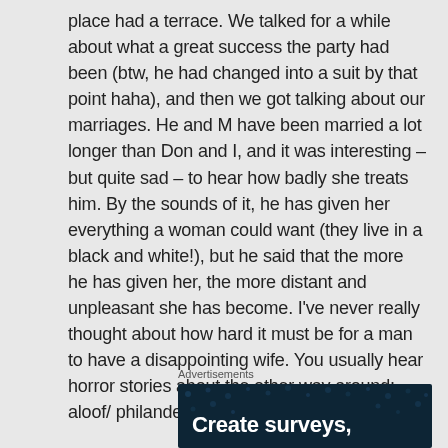place had a terrace. We talked for a while about what a great success the party had been (btw, he had changed into a suit by that point haha), and then we got talking about our marriages. He and M have been married a lot longer than Don and I, and it was interesting – but quite sad – to hear how badly she treats him. By the sounds of it, he has given her everything a woman could want (they live in a black and white!), but he said that the more he has given her, the more distant and unpleasant she has become. I've never really thought about how hard it must be for a man to have a disappointing wife. You usually hear horror stories about the other way around: aloof/ philandering/ crappy husbands.
Advertisements
[Figure (other): Dark navy advertisement banner with small dot pattern and bold white text reading 'Create surveys,']